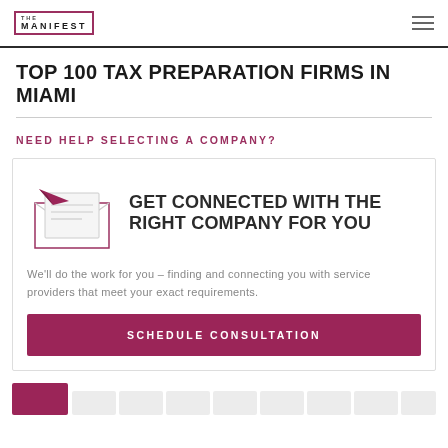THE MANIFEST
TOP 100 TAX PREPARATION FIRMS IN MIAMI
NEED HELP SELECTING A COMPANY?
[Figure (illustration): Envelope with paper airplane illustration]
GET CONNECTED WITH THE RIGHT COMPANY FOR YOU
We'll do the work for you – finding and connecting you with service providers that meet your exact requirements.
SCHEDULE CONSULTATION